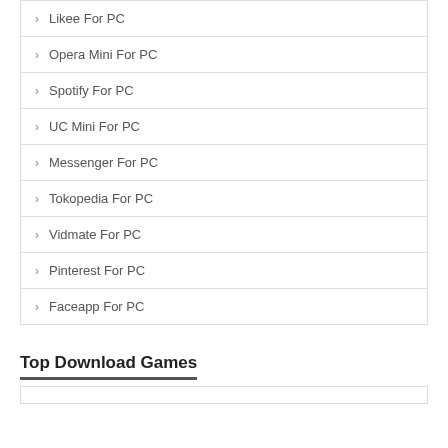Likee For PC
Opera Mini For PC
Spotify For PC
UC Mini For PC
Messenger For PC
Tokopedia For PC
Vidmate For PC
Pinterest For PC
Faceapp For PC
Top Download Games